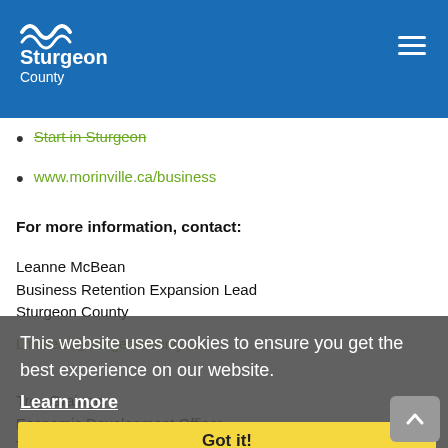Sturgeon County
Start in Sturgeon
www.morinville.ca/business
For more information, contact:
Leanne McBean
Business Retention Expansion Lead
Sturgeon County
Lmcbean@sturgeoncounty.ca
Troy Grainger
Economic Development Officer
Town of Morinville
Troygrainger@morinville.ca
Business Organizations and Support Services - Town of Morinville
[Figure (screenshot): Cookie consent overlay: 'This website uses cookies to ensure you get the best experience on our website. Learn more' with a 'Got it!' yellow button]